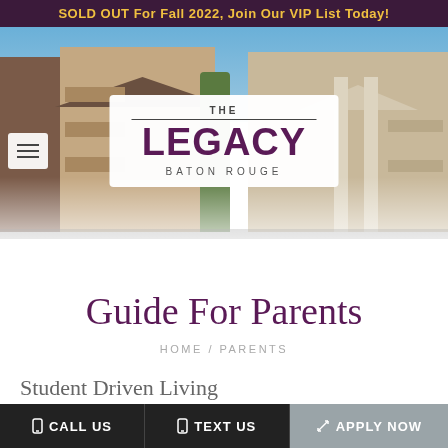SOLD OUT For Fall 2022, Join Our VIP List Today!
[Figure (photo): Exterior photo of The Legacy Baton Rouge apartment complex, multi-story residential buildings with tan and brown facade, balconies, under blue sky]
The Legacy Baton Rouge
Guide For Parents
HOME / PARENTS
Student Driven Living
CALL US   TEXT US   APPLY NOW